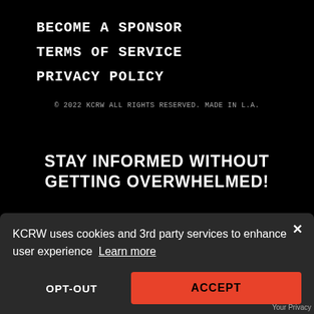BECOME A SPONSOR
TERMS OF SERVICE
PRIVACY POLICY
© 2022 KCRW ALL RIGHTS RESERVED. MADE IN L.A.
STAY INFORMED WITHOUT GETTING OVERWHELMED!
KCRW uses cookies and 3rd party services to enhance user experience Learn more
OPT-OUT
ACCEPT
App Store
Your Privacy